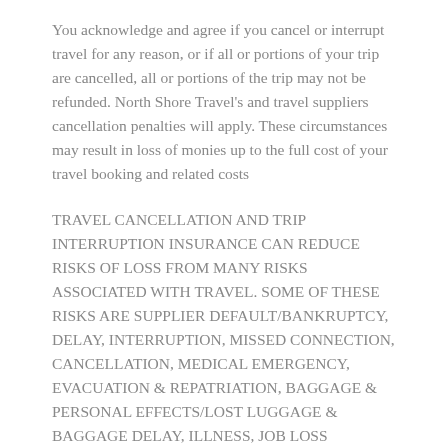You acknowledge and agree if you cancel or interrupt travel for any reason, or if all or portions of your trip are cancelled, all or portions of the trip may not be refunded. North Shore Travel's and travel suppliers cancellation penalties will apply. These circumstances may result in loss of monies up to the full cost of your travel booking and related costs
TRAVEL CANCELLATION AND TRIP INTERRUPTION INSURANCE CAN REDUCE RISKS OF LOSS FROM MANY RISKS ASSOCIATED WITH TRAVEL. SOME OF THESE RISKS ARE SUPPLIER DEFAULT/BANKRUPTCY, DELAY, INTERRUPTION, MISSED CONNECTION, CANCELLATION, MEDICAL EMERGENCY, EVACUATION & REPATRIATION, BAGGAGE & PERSONAL EFFECTS/LOST LUGGAGE & BAGGAGE DELAY, ILLNESS, JOB LOSS PROTECTION, CHANGE OF TRAVEL PLANS, ACCIDENTAL DEATH AND DISABILITY, TRAVEL ACCIDENT/SICKNESS MEDICAL EXPENSES,